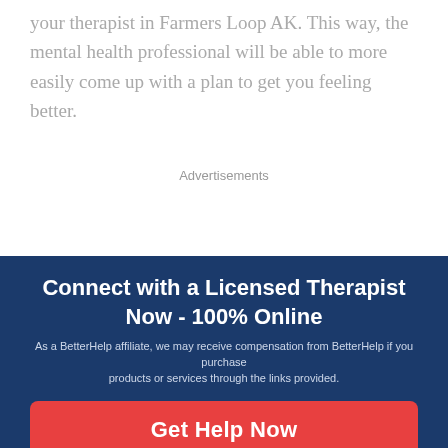your therapist in Farmers Loop AK. This way, the mental health professional will be able to more easily come up with a plan to get you feeling better.
Advertisements
Connect with a Licensed Therapist Now - 100% Online
As a BetterHelp affiliate, we may receive compensation from BetterHelp if you purchase products or services through the links provided.
Get Help Now